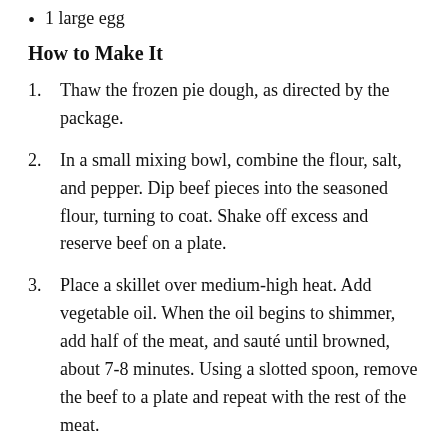1 large egg
How to Make It
1. Thaw the frozen pie dough, as directed by the package.
2. In a small mixing bowl, combine the flour, salt, and pepper. Dip beef pieces into the seasoned flour, turning to coat. Shake off excess and reserve beef on a plate.
3. Place a skillet over medium-high heat. Add vegetable oil. When the oil begins to shimmer, add half of the meat, and sauté until browned, about 7-8 minutes. Using a slotted spoon, remove the beef to a plate and repeat with the rest of the meat.
4. Into the empty skillet, add the onion and sauté until almost translucent, about 4-6 minutes. Add the mushrooms and continue to sauté for another 4-6 minutes. Add the garlic and tomato paste and sauté